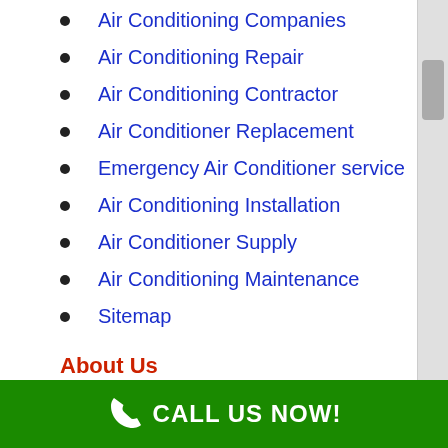Air Conditioning Companies
Air Conditioning Repair
Air Conditioning Contractor
Air Conditioner Replacement
Emergency Air Conditioner service
Air Conditioning Installation
Air Conditioner Supply
Air Conditioning Maintenance
Sitemap
About Us
Air Conditioning Pros of University Gardens has
CALL US NOW!